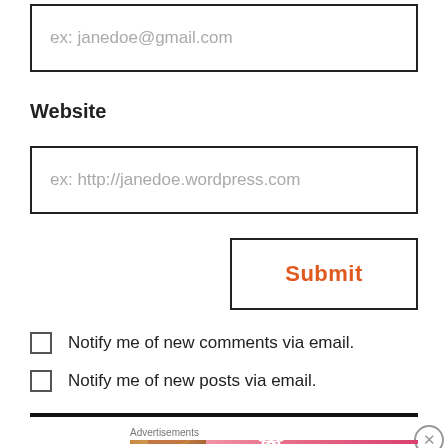ex: janedoe@gmail.com
Website
ex: http://janedoe.wordpress.com
Submit
Notify me of new comments via email.
Notify me of new posts via email.
[Figure (screenshot): Advertisements banner for Victoria's Secret with shop the collection and shop now button]